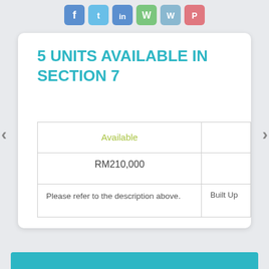[Figure (other): Row of social media sharing icon buttons: Facebook (blue), Twitter (light blue), LinkedIn (blue), WhatsApp (green), Flipboard (red/pink), and another icon]
5 UNITS AVAILABLE IN SECTION 7
| Available |  |
| --- | --- |
| RM210,000 |  |
| Please refer to the description above. | Built Up |